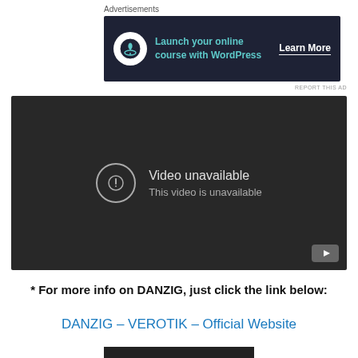Advertisements
[Figure (screenshot): Advertisement banner with dark navy background. Shows a circular icon with a bonsai tree, teal text 'Launch your online course with WordPress', and white underlined text 'Learn More']
REPORT THIS AD
[Figure (screenshot): Embedded video player with dark background showing 'Video unavailable' message with exclamation circle icon and text 'This video is unavailable'. YouTube logo in bottom-right corner.]
* For more info on DANZIG, just click the link below:
DANZIG – VEROTIK – Official Website